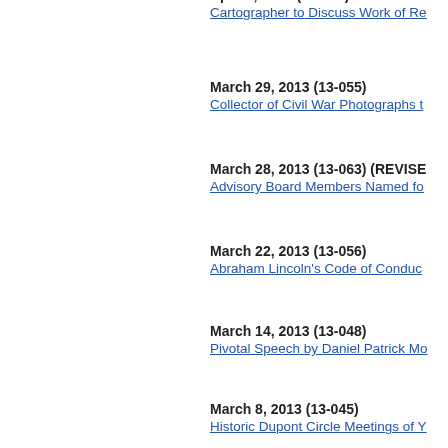April 3, 2013 (13-069)
Cartographer to Discuss Work of Re...
March 29, 2013 (13-055)
Collector of Civil War Photographs t...
March 28, 2013 (13-063) (REVISED)
Advisory Board Members Named fo...
March 22, 2013 (13-056)
Abraham Lincoln's Code of Conduc...
March 14, 2013 (13-048)
Pivotal Speech by Daniel Patrick Mo...
March 8, 2013 (13-045)
Historic Dupont Circle Meetings of Y...
February 22, 2013 (13-034) (REVIS...)
Final Volume in "The Washington R...
February 21, 2013 (13-045)
Library of Congress "Timeline of the...
January 24, 2013 (13-019)
Applications Being Accepted for Ne...
January 11, 2013 (13-006)